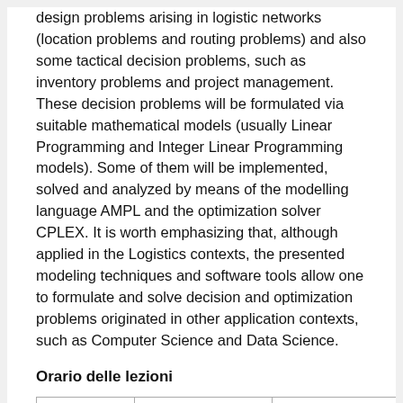design problems arising in logistic networks (location problems and routing problems) and also some tactical decision problems, such as inventory problems and project management. These decision problems will be formulated via suitable mathematical models (usually Linear Programming and Integer Linear Programming models). Some of them will be implemented, solved and analyzed by means of the modelling language AMPL and the optimization solver CPLEX. It is worth emphasizing that, although applied in the Logistics contexts, the presented modeling techniques and software tools allow one to formulate and solve decision and optimization problems originated in other application contexts, such as Computer Science and Data Science.
Orario delle lezioni
| Giorno | Orario | Aula |
| --- | --- | --- |
| Martedì | 16:15–18:00 | Room Fib L1 |
| Venerdì | 11:00–12:45 | Room Fib L1 |